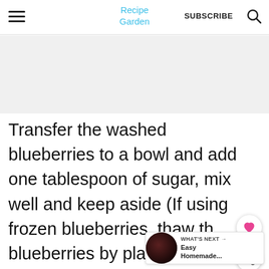Recipe Garden | SUBSCRIBE
[Figure (other): Gray advertisement placeholder area]
Transfer the washed blueberries to a bowl and add one tablespoon of sugar, mix well and keep aside (If using frozen blueberries, thaw the blueberries by placing the frozen blueberries in a microwave safe bowl and heat for about...